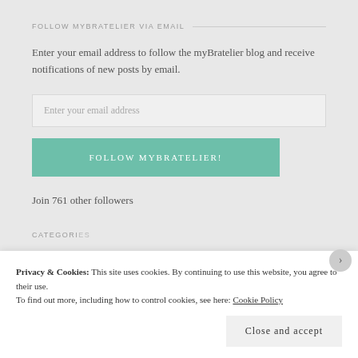FOLLOW MYBRATELIER VIA EMAIL
Enter your email address to follow the myBratelier blog and receive notifications of new posts by email.
Enter your email address
FOLLOW MYBRATELIER!
Join 761 other followers
CATEGORIES
Privacy & Cookies: This site uses cookies. By continuing to use this website, you agree to their use.
To find out more, including how to control cookies, see here: Cookie Policy
Close and accept